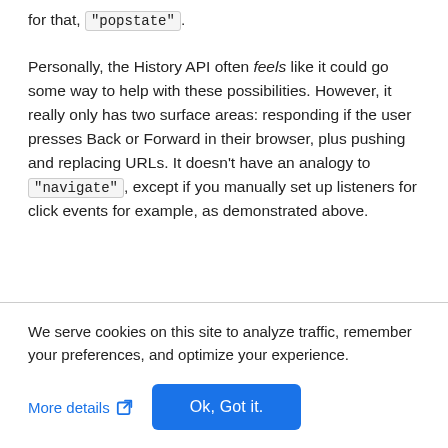for that, "popstate".
Personally, the History API often feels like it could go some way to help with these possibilities. However, it really only has two surface areas: responding if the user presses Back or Forward in their browser, plus pushing and replacing URLs. It doesn't have an analogy to "navigate", except if you manually set up listeners for click events for example, as demonstrated above.
We serve cookies on this site to analyze traffic, remember your preferences, and optimize your experience.
More details   Ok, Got it.